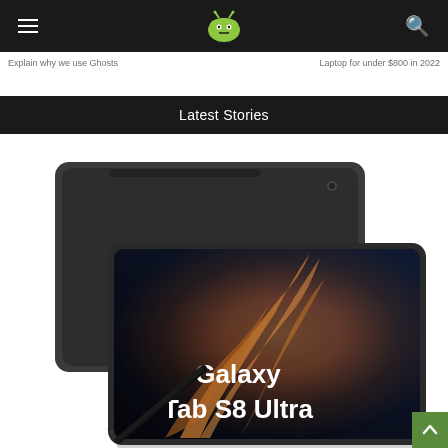AndroidPIT logo with hamburger menu and search icon
Explain why we use Ghosts — Laptop for under $800 in 2022
Latest Stories
[Figure (photo): Samsung Galaxy Tab S8 Ultra tablet shown from front and back. The front shows Samsung's Galaxy wallpaper with orange/gold flame-like patterns on black background. Text on screen reads 'Galaxy Tab S8 Ultra'. An S Pen stylus is visible. The back panel is dark gray/graphite colored.]